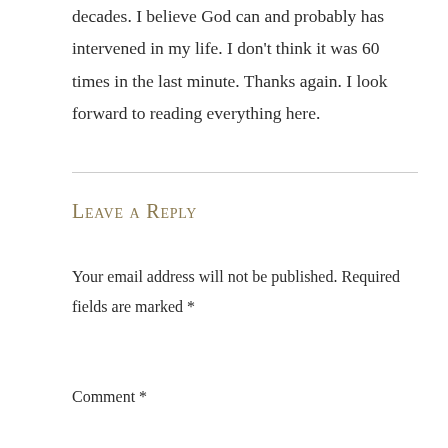decades. I believe God can and probably has intervened in my life. I don’t think it was 60 times in the last minute. Thanks again. I look forward to reading everything here.
Leave a Reply
Your email address will not be published. Required fields are marked *
Comment *